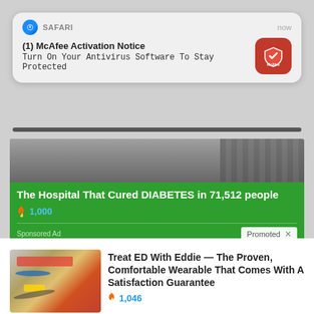[Figure (screenshot): Safari push notification banner for McAfee Activation Notice]
(1) McAfee Activation Notice
Turn On Your Antivirus Software To Stay Protected
[Figure (screenshot): Green sponsored ad card: The Hospital That Cured DIABETES in 71,512 people, fire icon with 1,000 count, Sponsored Ad label, Promoted badge]
The Hospital That Cured DIABETES in 71,512 people
🔥 1,000
Sponsored Ad
Promoted X
[Figure (photo): Thumbnail of medical items (stethoscope, pills, tablets) for ED treatment ad]
Treat ED With Eddie — The Proven, Comfortable Wearable That Comes With A Satisfaction Guarantee
🔥 1,046
[Figure (photo): Thumbnail of person with tongue out and pill, video play button overlay, blue pill indicator]
4 Worst Blood Pressure Drugs (Avoid At All Costs)
🔥 66,557